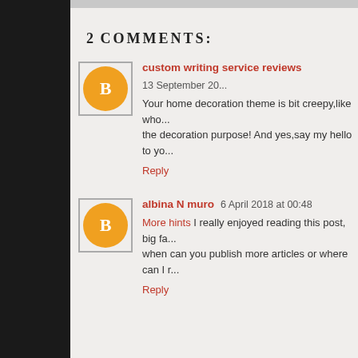2 COMMENTS:
custom writing service reviews  13 September 20...
Your home decoration theme is bit creepy,like who...the decoration purpose! And yes,say my hello to yo...
Reply
albina N muro  6 April 2018 at 00:48
More hints I really enjoyed reading this post, big fa...when can you publish more articles or where can I r...
Reply